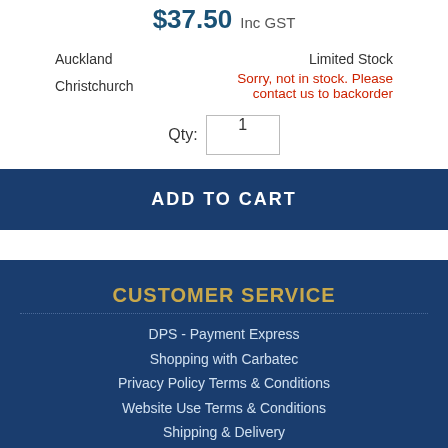$37.50 Inc GST
| Auckland | Limited Stock |
| Christchurch | Sorry, not in stock. Please contact us to backorder |
Qty: 1
ADD TO CART
CUSTOMER SERVICE
DPS - Payment Express
Shopping with Carbatec
Privacy Policy Terms & Conditions
Website Use Terms & Conditions
Shipping & Delivery
Warranty & Disclaimers Terms & Conditions
OUR COMPANY
Store Location